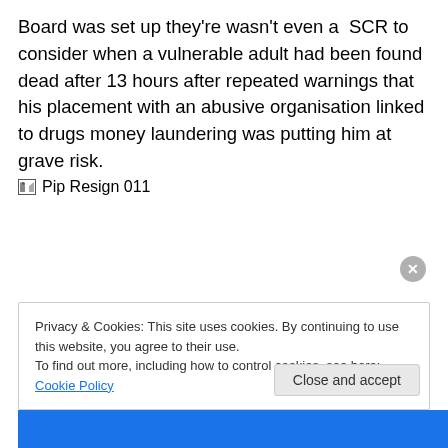Board was set up they're wasn't even a SCR to consider when a vulnerable adult had been found dead after 13 hours after repeated warnings that his placement with an abusive organisation linked to drugs money laundering was putting him at grave risk.
[Figure (photo): Broken image placeholder labeled 'Pip Resign 011']
Privacy & Cookies: This site uses cookies. By continuing to use this website, you agree to their use.
To find out more, including how to control cookies, see here: Cookie Policy